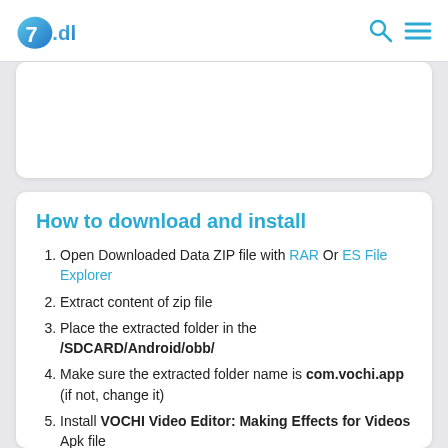7.dl
[Figure (other): Ad banner placeholder card]
How to download and install
Open Downloaded Data ZIP file with RAR Or ES File Explorer
Extract content of zip file
Place the extracted folder in the /SDCARD/Android/obb/
Make sure the extracted folder name is com.vochi.app (if not, change it)
Install VOCHI Video Editor: Making Effects for Videos Apk file
Start the game and Enjoy